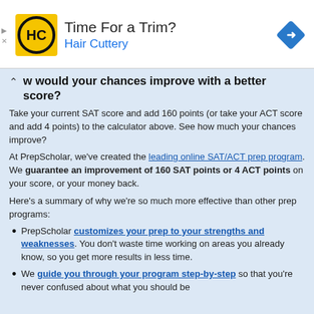[Figure (logo): Hair Cuttery advertisement banner with HC logo, 'Time For a Trim?' headline, 'Hair Cuttery' subtext in blue, and a blue navigation diamond icon]
How would your chances improve with a better score?
Take your current SAT score and add 160 points (or take your ACT score and add 4 points) to the calculator above. See how much your chances improve?
At PrepScholar, we've created the leading online SAT/ACT prep program. We guarantee an improvement of 160 SAT points or 4 ACT points on your score, or your money back.
Here's a summary of why we're so much more effective than other prep programs:
PrepScholar customizes your prep to your strengths and weaknesses. You don't waste time working on areas you already know, so you get more results in less time.
We guide you through your program step-by-step so that you're never confused about what you should be